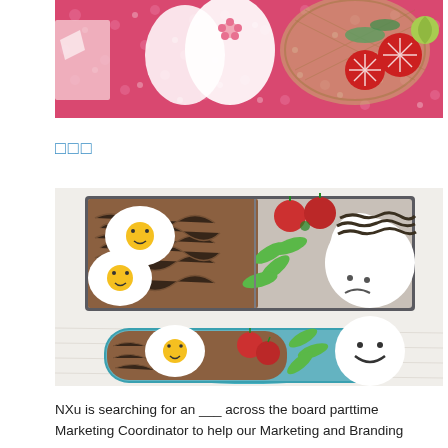[Figure (photo): Top portion of a Japanese bento/food photo showing rice balls decorated with pink flowers, cherry tomatoes with star patterns, and green vegetables in a bamboo basket on a pink floral fabric background.]
□□□
[Figure (photo): Japanese bento box photo showing two containers: a rectangular black/grey box with fried eggs decorated with smiley faces, edamame, cherry tomatoes, noodles, and rice onigiri with seaweed decoration; and a round teal/blue container with a fried egg with smiley face, cherry tomatoes, edamame, noodles, and a round rice ball with smiley face. Arranged on a white wooden surface.]
NXu is searching for an ___ across the board parttime Marketing Coordinator to help our Marketing and Branding